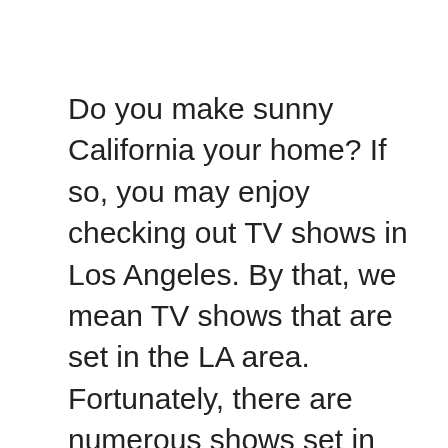Do you make sunny California your home? If so, you may enjoy checking out TV shows in Los Angeles. By that, we mean TV shows that are set in the LA area. Fortunately, there are numerous shows set in glamorous and gorgeous Los Angeles and its surrounding areas.